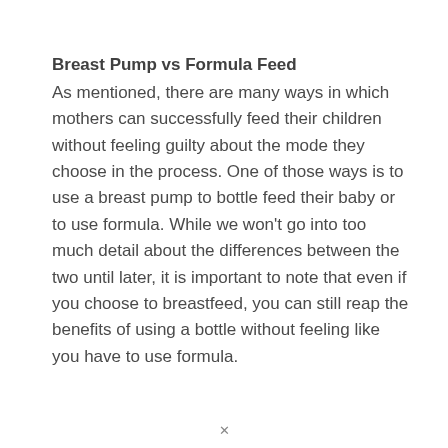Breast Pump vs Formula Feed
As mentioned, there are many ways in which mothers can successfully feed their children without feeling guilty about the mode they choose in the process. One of those ways is to use a breast pump to bottle feed their baby or to use formula. While we won't go into too much detail about the differences between the two until later, it is important to note that even if you choose to breastfeed, you can still reap the benefits of using a bottle without feeling like you have to use formula.